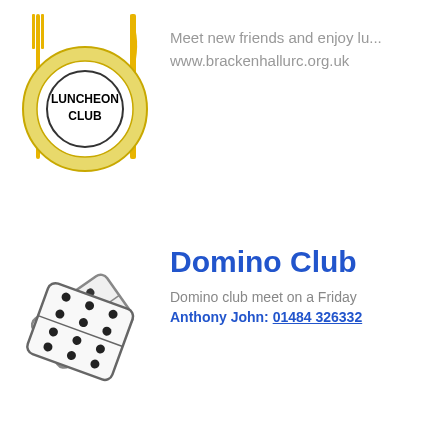[Figure (logo): Luncheon Club logo: a plate with fork and knife, text LUNCHEON CLUB in the center]
Meet new friends and enjoy lu...
www.brackenhallurc.org.uk
[Figure (illustration): Two domino tiles crossed over each other, showing dots/pips]
Domino Club
Domino club meet on a Friday
Anthony John: 01484 326332